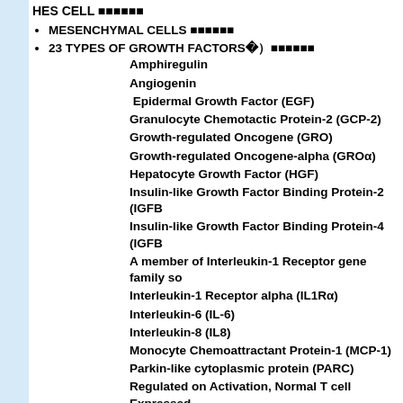HES CELL xxxxxxx
MESENCHYMAL CELLS xxxxxxx
23 TYPES OF GROWTH FACTORS(23xxxxxxx
Amphiregulin
Angiogenin
Epidermal Growth Factor (EGF)
Granulocyte Chemotactic Protein-2 (GCP-2)
Growth-regulated Oncogene (GRO)
Growth-regulated Oncogene-alpha (GROα)
Hepatocyte Growth Factor (HGF)
Insulin-like Growth Factor Binding Protein-2 (IGFB
Insulin-like Growth Factor Binding Protein-4 (IGFB
A member of Interleukin-1 Receptor gene family so
Interleukin-1 Receptor alpha (IL1Rα)
Interleukin-6 (IL-6)
Interleukin-8 (IL8)
Monocyte Chemoattractant Protein-1 (MCP-1)
Parkin-like cytoplasmic protein (PARC)
Regulated on Activation, Normal T cell Expressed
Stem Cell Factor (SCF)